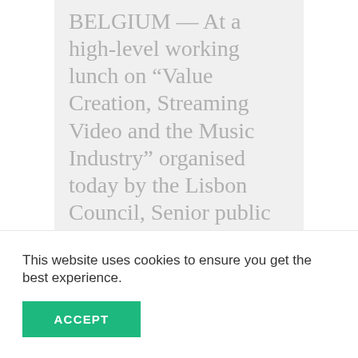BELGIUM — At a high-level working lunch on “Value Creation, Streaming Video and the Music Industry” organised today by the Lisbon Council, Senior public policy manager for CCIA Europe Maud Sacquet presented a new research paper, “Value Growth and the Music Industry: The
This website uses cookies to ensure you get the best experience.
ACCEPT